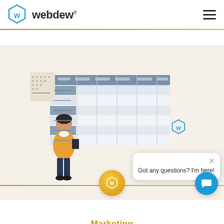webdew®
[Figure (screenshot): Website screenshot showing webdew logo in header with hamburger menu, a marketing illustration of a person looking at a spreadsheet/table with a chat popup saying 'Got any questions? I'm here!', a gold webdew icon circle, a blue chat button, and a 'Marketing' label at the bottom]
Got any questions? I'm here!
Marketing